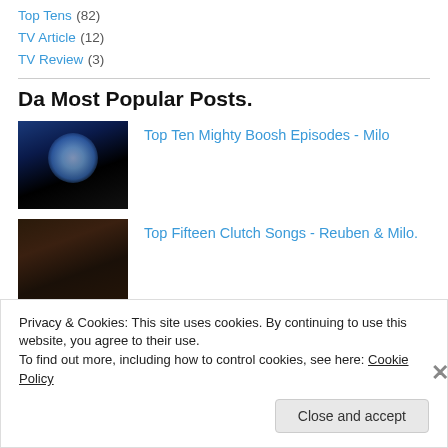Top Tens (82)
TV Article (12)
TV Review (3)
Da Most Popular Posts.
[Figure (photo): Dark silhouette scene with blue moon, fantasy/horror style thumbnail for Mighty Boosh article]
Top Ten Mighty Boosh Episodes - Milo
[Figure (photo): Dark photo of a band, thumbnail for Clutch Songs article]
Top Fifteen Clutch Songs - Reuben & Milo.
Privacy & Cookies: This site uses cookies. By continuing to use this website, you agree to their use.
To find out more, including how to control cookies, see here: Cookie Policy
Close and accept